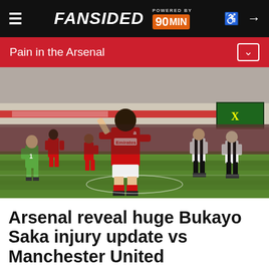FANSIDED · POWERED BY 90MIN
Pain in the Arsenal
[Figure (photo): Arsenal player Bukayo Saka in red Emirates-sponsored kit celebrating or running on pitch at Emirates Stadium, with Newcastle United goalkeeper in green kit and other players visible in background, crowd in stands.]
Arsenal reveal huge Bukayo Saka injury update vs Manchester United